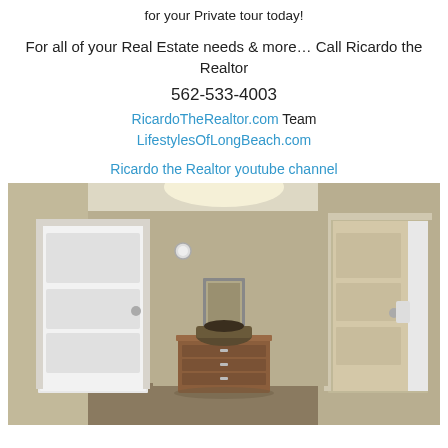for your Private tour today!
For all of your Real Estate needs & more… Call Ricardo the Realtor
562-533-4003
RicardoTheRealtor.com Team
LifestylesOfLongBeach.com
Ricardo the Realtor youtube channel
[Figure (photo): Interior hallway of a home showing multiple white panel doors, tan/beige painted walls, a wooden dresser with a decorative basket on top, and a framed picture on the wall. Two doors are open revealing additional rooms.]